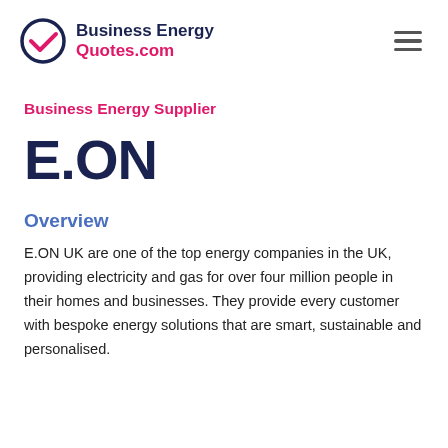Business Energy Quotes.com
Business Energy Supplier
E.ON
Overview
E.ON UK are one of the top energy companies in the UK, providing electricity and gas for over four million people in their homes and businesses. They provide every customer with bespoke energy solutions that are smart, sustainable and personalised.